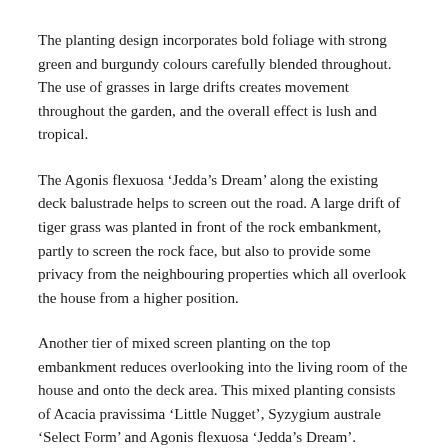The planting design incorporates bold foliage with strong green and burgundy colours carefully blended throughout. The use of grasses in large drifts creates movement throughout the garden, and the overall effect is lush and tropical.
The Agonis flexuosa ‘Jedda’s Dream’ along the existing deck balustrade helps to screen out the road. A large drift of tiger grass was planted in front of the rock embankment, partly to screen the rock face, but also to provide some privacy from the neighbouring properties which all overlook the house from a higher position.
Another tier of mixed screen planting on the top embankment reduces overlooking into the living room of the house and onto the deck area. This mixed planting consists of Acacia pravissima ‘Little Nugget’, Syzygium australe ‘Select Form’ and Agonis flexuosa ‘Jedda’s Dream’.